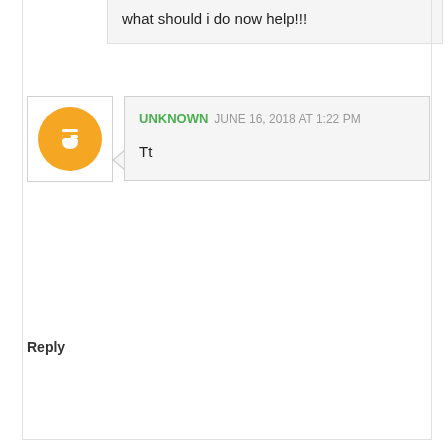what should i do now help!!!
UNKNOWN  JUNE 16, 2018 AT 1:22 PM
Tt
Reply